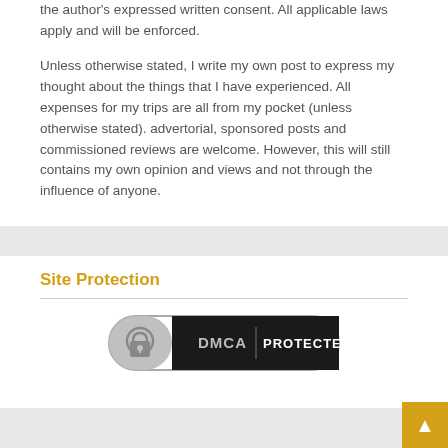the author's expressed written consent. All applicable laws apply and will be enforced.
Unless otherwise stated, I write my own post to express my thought about the things that I have experienced. All expenses for my trips are all from my pocket (unless otherwise stated). advertorial, sponsored posts and commissioned reviews are welcome. However, this will still contains my own opinion and views and not through the influence of anyone.
Site Protection
[Figure (logo): DMCA Protected badge with lock icon on grey and black background]